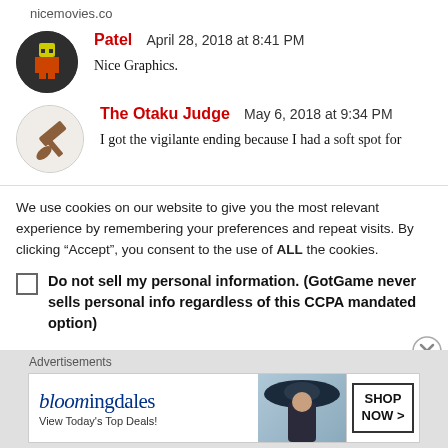nicemovies.co
Patel   April 28, 2018 at 8:41 PM

Nice Graphics.
[Figure (illustration): Circular avatar with dark background showing a pixel-art character icon for user Patel]
The Otaku Judge   May 6, 2018 at 9:34 PM

I got the vigilante ending because I had a soft spot for
[Figure (illustration): Circular avatar with light background showing a gavel/hammer icon for The Otaku Judge]
We use cookies on our website to give you the most relevant experience by remembering your preferences and repeat visits. By clicking “Accept”, you consent to the use of ALL the cookies.
Do not sell my personal information. (GotGame never sells personal info regardless of this CCPA mandated option)
Advertisements
[Figure (illustration): Bloomingdale's advertisement banner showing logo, 'View Today's Top Deals!' text, woman with hat image, and SHOP NOW button]